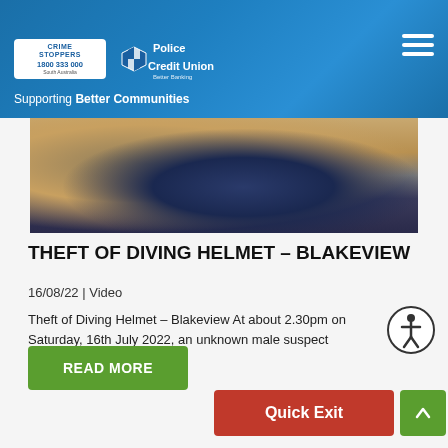Crime Stoppers 1800 333 000 South Australia — Supporting Better Communities | Police Credit Union — Better Banking
[Figure (photo): Close-up photograph of a diving helmet, metallic with dark circular visor, on a warm-toned background]
THEFT OF DIVING HELMET – BLAKEVIEW
16/08/22 | Video
Theft of Diving Helmet – Blakeview At about 2.30pm on Saturday, 16th July 2022, an unknown male suspect entered Hazel's…
READ MORE
Quick Exit